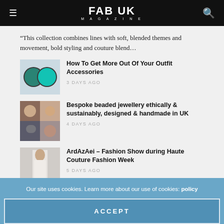FAB UK MAGAZINE
“This collection combines lines with soft, blended themes and movement, bold styling and couture blend…
[Figure (photo): Thumbnail image of teal/green circular earrings accessories]
How To Get More Out Of Your Outfit Accessories
3 DAYS AGO
[Figure (photo): Thumbnail collage of bespoke beaded jewellery items]
Bespoke beaded jewellery ethically & sustainably, designed & handmade in UK
4 DAYS AGO
[Figure (photo): Thumbnail of a model in a white outfit at a fashion show]
ArdAzAei – Fashion Show during Haute Couture Fashion Week
5 DAYS AGO
Our site uses cookies. Learn more about our use of cookies: policy
ACCEPT